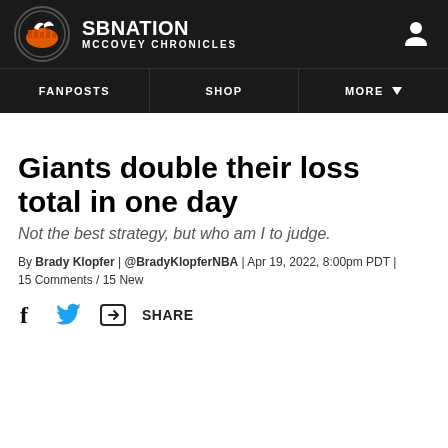SB NATION | MCCOVEY CHRONICLES
FANPOSTS | SHOP | MORE
Giants double their loss total in one day
Not the best strategy, but who am I to judge.
By Brady Klopfer | @BradyKlopferNBA | Apr 19, 2022, 8:00pm PDT | 15 Comments / 15 New